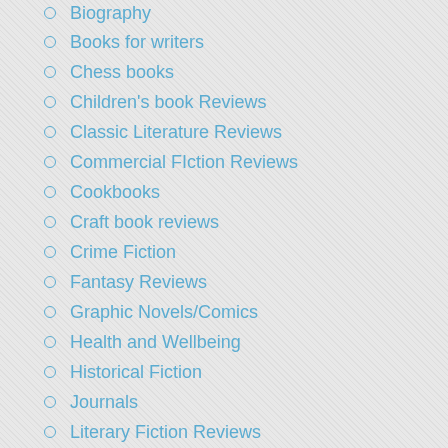Biography
Books for writers
Chess books
Children's book Reviews
Classic Literature Reviews
Commercial FIction Reviews
Cookbooks
Craft book reviews
Crime Fiction
Fantasy Reviews
Graphic Novels/Comics
Health and Wellbeing
Historical Fiction
Journals
Literary Fiction Reviews
Memoir
Mystery Reviews
Non fiction reviews
Plays
Poetry Reviews